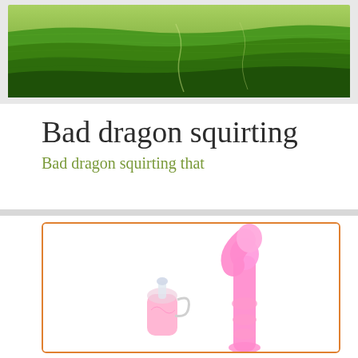[Figure (photo): Aerial view of green terraced fields/hills landscape]
Bad dragon squirting
Bad dragon squirting that
[Figure (photo): Two pink adult novelty products on white background inside orange-bordered box]